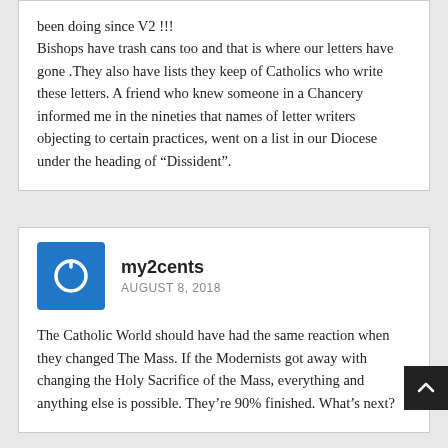been doing since V2 !!! Bishops have trash cans too and that is where our letters have gone .They also have lists they keep of Catholics who write these letters. A friend who knew someone in a Chancery informed me in the nineties that names of letter writers objecting to certain practices, went on a list in our Diocese under the heading of “Dissident”.
my2cents
AUGUST 8, 2018
The Catholic World should have had the same reaction when they changed The Mass. If the Modernists got away with changing the Holy Sacrifice of the Mass, everything and anything else is possible. They’re 90% finished. What’s next?